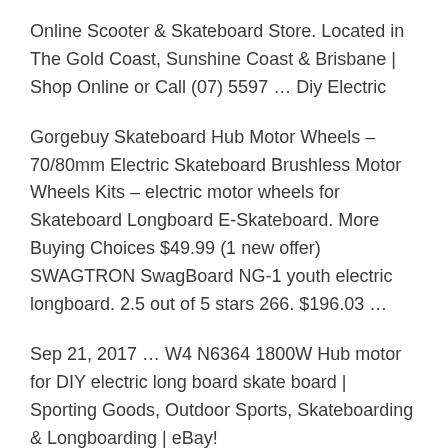Online Scooter & Skateboard Store. Located in The Gold Coast, Sunshine Coast & Brisbane | Shop Online or Call (07) 5597 … Diy Electric
Gorgebuy Skateboard Hub Motor Wheels – 70/80mm Electric Skateboard Brushless Motor Wheels Kits – electric motor wheels for Skateboard Longboard E-Skateboard. More Buying Choices $49.99 (1 new offer) SWAGTRON SwagBoard NG-1 youth electric longboard. 2.5 out of 5 stars 266. $196.03 …
Sep 21, 2017 … W4 N6364 1800W Hub motor for DIY electric long board skate board | Sporting Goods, Outdoor Sports, Skateboarding & Longboarding | eBay!
Electric Skateboard Builders unite to Learn & Teach the art of DIY Eboard Building. … hub motors, focboxes and 11s5p battery EU. Used Items For Sale. 16: February 25, 2020 … Question about hub/bearing fit meant from one